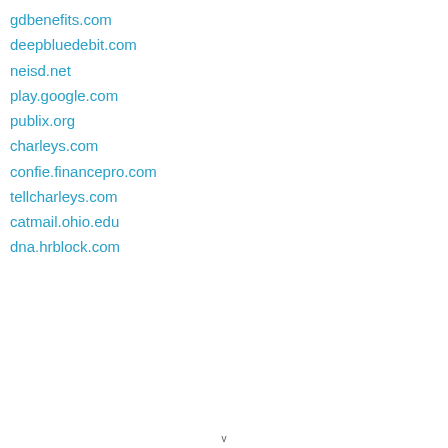gdbenefits.com
deepbluedebit.com
neisd.net
play.google.com
publix.org
charleys.com
confie.financepro.com
tellcharleys.com
catmail.ohio.edu
dna.hrblock.com
v